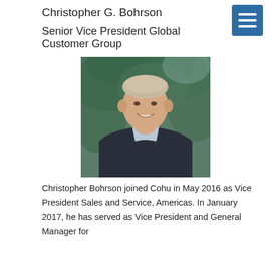Christopher G. Bohrson
Senior Vice President Global Customer Group
[Figure (photo): Professional headshot of Christopher G. Bohrson, a middle-aged man with short light hair, wearing a dark suit jacket and light blue striped shirt, smiling, with green foliage in the background.]
Christopher Bohrson joined Cohu in May 2016 as Vice President Sales and Service, Americas. In January 2017, he has served as Vice President and General Manager for